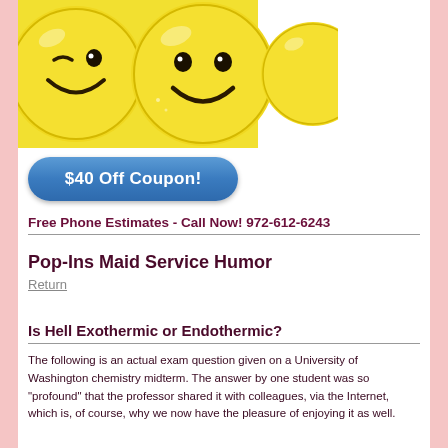[Figure (photo): Yellow smiley face emoji/ball toys, closeup photo showing two or three yellow smiley faces with black facial features]
$40 Off Coupon!
Free Phone Estimates - Call Now! 972-612-6243
Pop-Ins Maid Service Humor
Return
Is Hell Exothermic or Endothermic?
The following is an actual exam question given on a University of Washington chemistry midterm. The answer by one student was so "profound" that the professor shared it with colleagues, via the Internet, which is, of course, why we now have the pleasure of enjoying it as well.